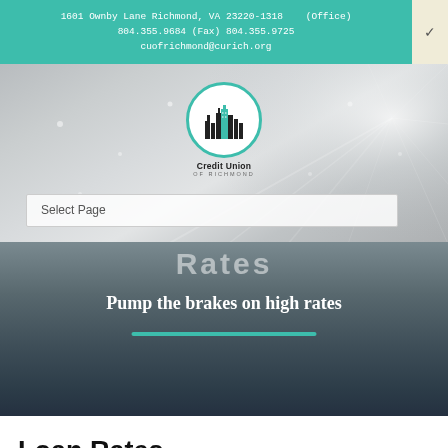1601 Ownby Lane Richmond, VA 23220-1318    (Office)
804.355.9684 (Fax) 804.355.9725
cuofrichmond@curich.org
[Figure (logo): Credit Union of Richmond circular logo with city skyline silhouette in teal and black on white background]
Select Page
Rates
Pump the brakes on high rates
Loan Rates